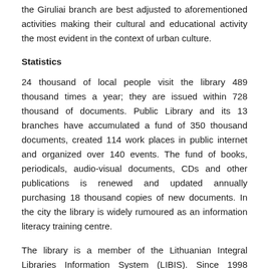the Giruliai branch are best adjusted to aforementioned activities making their cultural and educational activity the most evident in the context of urban culture.
Statistics
24 thousand of local people visit the library 489 thousand times a year; they are issued within 728 thousand of documents. Public Library and its 13 branches have accumulated a fund of 350 thousand documents, created 114 work places in public internet and organized over 140 events. The fund of books, periodicals, audio-visual documents, CDs and other publications is renewed and updated annually purchasing 18 thousand copies of new documents. In the city the library is widely rumoured as an information literacy training centre.
The library is a member of the Lithuanian Integral Libraries Information System (LIBIS). Since 1998 document gathering